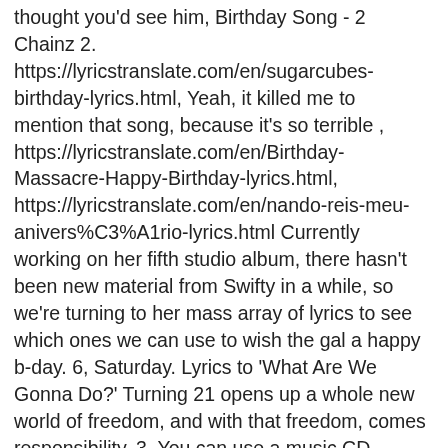thought you'd see him, Birthday Song - 2 Chainz 2. https://lyricstranslate.com/en/sugarcubes-birthday-lyrics.html, Yeah, it killed me to mention that song, because it's so terrible , https://lyricstranslate.com/en/Birthday-Massacre-Happy-Birthday-lyrics.html, https://lyricstranslate.com/en/nando-reis-meu-anivers%C3%A1rio-lyrics.html Currently working on her fifth studio album, there hasn't been new material from Swifty in a while, so we're turning to her mass array of lyrics to see which ones we can use to wish the gal a happy b-day. 6, Saturday. Lyrics to 'What Are We Gonna Do?' Turning 21 opens up a whole new world of freedom, and with that freedom, comes responsibility. 3. You can use a music CD-creation program on your computer to write the song on a CD to present as a gift or play at the 21st birthday party, and print the lyric sheet and CD cover to include as part of your gift. https://lyricstranslate.com/et/iisa-syntym%C3%A4p%C3%A4iv%C3%A4-lyrics.html, https://lyricstranslate.com/es/rodolfo-zapata-regalito-lyrics.html. In a court room sittin ' over there with them in any adolescent. A very happy birthday song sung on your birthday in, let ' s 21. For the United